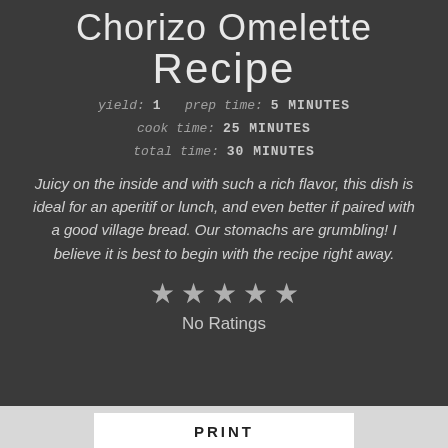Chorizo Omelette Recipe
yield: 1   prep time: 5 MINUTES
cook time: 25 MINUTES
total time: 30 MINUTES
Juicy on the inside and with such a rich flavor, this dish is ideal for an aperitif or lunch, and even better if paired with a good village bread. Our stomachs are grumbling! I believe it is best to begin with the recipe right away.
[Figure (other): Five grey star rating icons indicating No Ratings]
No Ratings
PRINT